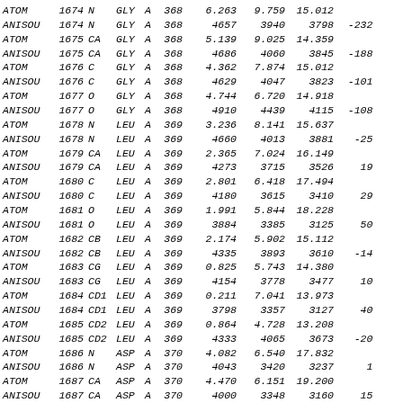| ATOM | 1674 | N | GLY | A | 368 | 6.263 | 9.759 | 15.012 |
| ANISOU | 1674 | N | GLY | A | 368 | 4657 | 3940 | 3798 | -232 |
| ATOM | 1675 | CA | GLY | A | 368 | 5.139 | 9.025 | 14.359 |
| ANISOU | 1675 | CA | GLY | A | 368 | 4686 | 4060 | 3845 | -188 |
| ATOM | 1676 | C | GLY | A | 368 | 4.362 | 7.874 | 15.012 |
| ANISOU | 1676 | C | GLY | A | 368 | 4629 | 4047 | 3823 | -101 |
| ATOM | 1677 | O | GLY | A | 368 | 4.744 | 6.720 | 14.918 |
| ANISOU | 1677 | O | GLY | A | 368 | 4910 | 4439 | 4115 | -108 |
| ATOM | 1678 | N | LEU | A | 369 | 3.236 | 8.141 | 15.637 |
| ANISOU | 1678 | N | LEU | A | 369 | 4660 | 4013 | 3881 | -25 |
| ATOM | 1679 | CA | LEU | A | 369 | 2.365 | 7.024 | 16.149 |
| ANISOU | 1679 | CA | LEU | A | 369 | 4273 | 3715 | 3526 | 19 |
| ATOM | 1680 | C | LEU | A | 369 | 2.801 | 6.418 | 17.494 |
| ANISOU | 1680 | C | LEU | A | 369 | 4180 | 3615 | 3410 | 29 |
| ATOM | 1681 | O | LEU | A | 369 | 1.991 | 5.844 | 18.228 |
| ANISOU | 1681 | O | LEU | A | 369 | 3884 | 3385 | 3125 | 50 |
| ATOM | 1682 | CB | LEU | A | 369 | 2.174 | 5.902 | 15.112 |
| ANISOU | 1682 | CB | LEU | A | 369 | 4335 | 3893 | 3610 | -14 |
| ATOM | 1683 | CG | LEU | A | 369 | 0.825 | 5.743 | 14.380 |
| ANISOU | 1683 | CG | LEU | A | 369 | 4154 | 3778 | 3477 | 10 |
| ATOM | 1684 | CD1 | LEU | A | 369 | 0.211 | 7.041 | 13.973 |
| ANISOU | 1684 | CD1 | LEU | A | 369 | 3798 | 3357 | 3127 | 40 |
| ATOM | 1685 | CD2 | LEU | A | 369 | 0.864 | 4.728 | 13.208 |
| ANISOU | 1685 | CD2 | LEU | A | 369 | 4333 | 4065 | 3673 | -20 |
| ATOM | 1686 | N | ASP | A | 370 | 4.082 | 6.540 | 17.832 |
| ANISOU | 1686 | N | ASP | A | 370 | 4043 | 3420 | 3237 | 1 |
| ATOM | 1687 | CA | ASP | A | 370 | 4.470 | 6.151 | 19.200 |
| ANISOU | 1687 | CA | ASP | A | 370 | 4000 | 3348 | 3160 | 15 |
| ATOM | 1688 | C | ASP | A | 370 | 3.699 | 7.029 | 20.168 |
| ANISOU | 1688 | C | ASP | A | 370 | 3946 | 3280 | 3097 | 80 |